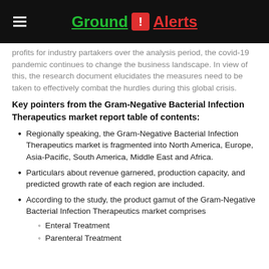Ground ! Alerts
profits for industry partakers over the analysis period, the covid-19 pandemic continues to change the business landscape. In view of this, the research document elucidates the measures need to be taken to effectively combat the hurdles during this global crisis.
Key pointers from the Gram-Negative Bacterial Infection Therapeutics market report table of contents:
Regionally speaking, the Gram-Negative Bacterial Infection Therapeutics market is fragmented into North America, Europe, Asia-Pacific, South America, Middle East and Africa.
Particulars about revenue garnered, production capacity, and predicted growth rate of each region are included.
According to the study, the product gamut of the Gram-Negative Bacterial Infection Therapeutics market comprises
Enteral Treatment
Parenteral Treatment